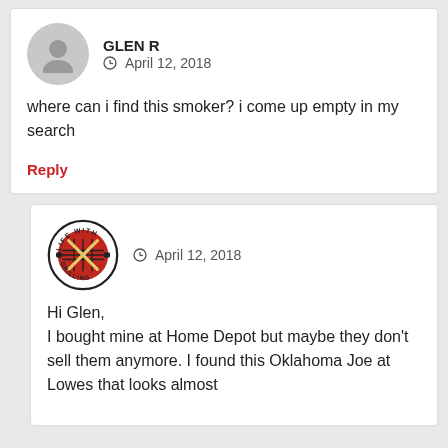GLEN R  April 12, 2018
where can i find this smoker? i come up empty in my search
Reply
April 12, 2018
Hi Glen,
I bought mine at Home Depot but maybe they don't sell them anymore. I found this Oklahoma Joe at Lowes that looks almost